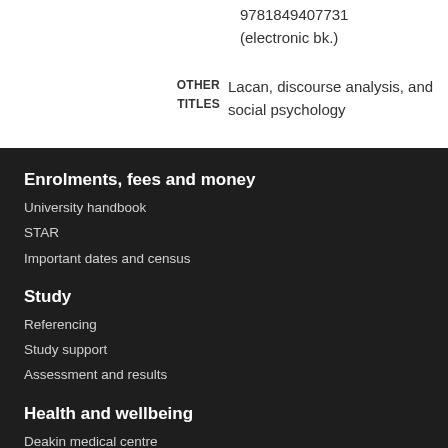9781849407731
(electronic bk.)
OTHER TITLES
Lacan, discourse analysis, and social psychology
Enrolments, fees and money
University handbook
STAR
Important dates and census
Study
Referencing
Study support
Assessment and results
Health and wellbeing
Deakin medical centre